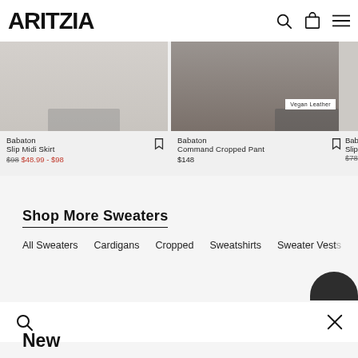ARITZIA
[Figure (screenshot): Product image for Babaton Slip Midi Skirt - shows feet/shoes on light background]
Babaton
Slip Midi Skirt
$98 $48.99 - $98
[Figure (screenshot): Product image for Babaton Command Cropped Pant with Vegan Leather badge - shows feet/shoes on dark background]
Babaton
Command Cropped Pant
$148
[Figure (screenshot): Partial product image for Babaton Slip M... - partially visible]
Baba...
Slip M...
$78 $...
Shop More Sweaters
All Sweaters
Cardigans
Cropped
Sweatshirts
Sweater Vests
New